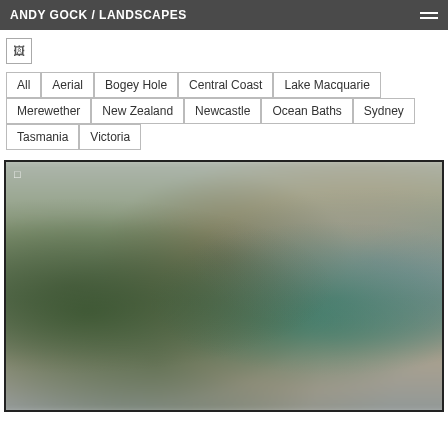ANDY GOCK / LANDSCAPES
All
Aerial
Bogey Hole
Central Coast
Lake Macquarie
Merewether
New Zealand
Newcastle
Ocean Baths
Sydney
Tasmania
Victoria
[Figure (photo): A blurred landscape photograph showing green foliage, sandy/tan tones in the middle, teal/green water or structure, and blue tones on the right, with a small location marker icon in the top-left corner of the image frame.]